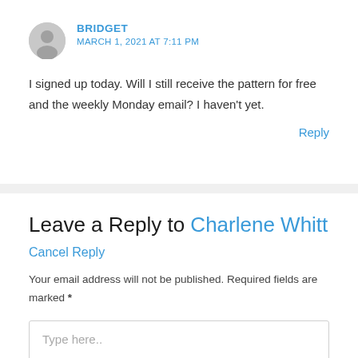BRIDGET
MARCH 1, 2021 AT 7:11 PM
I signed up today. Will I still receive the pattern for free and the weekly Monday email? I haven't yet.
Reply
Leave a Reply to Charlene Whitt
Cancel Reply
Your email address will not be published. Required fields are marked *
Type here..